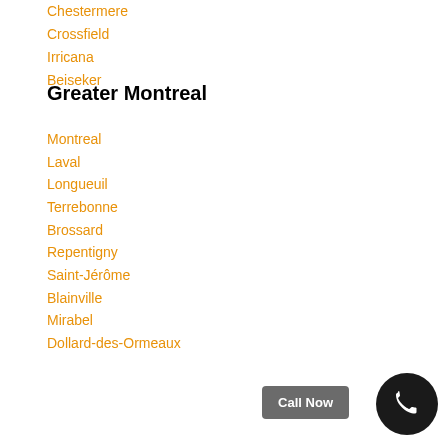Chestermere
Crossfield
Irricana
Beiseker
Greater Montreal
Montreal
Laval
Longueuil
Terrebonne
Brossard
Repentigny
Saint-Jérôme
Blainville
Mirabel
Dollard-des-Ormeaux